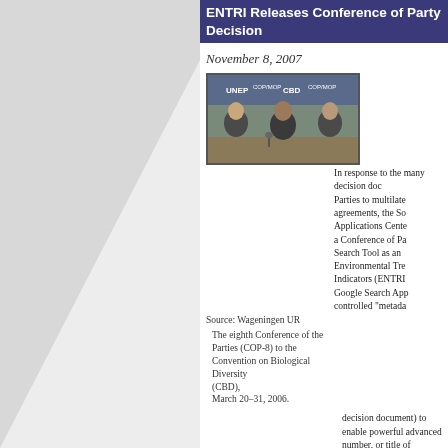ENTRI Releases Conference of Party Decision
November 8, 2007
[Figure (photo): Three men seated at a conference table with UNEP COP/MOP and CBD banners in background]
Source: Wageningen UR
The eighth Conference of the Parties (COP-8) to the Convention on Biological Diversity (CBD),
March 20–31, 2006.
In response to the many decision documents adopted by Parties to multilateral environmental agreements, the Searchable Applications Center has developed a Conference of Parties (COP) Search Tool as an addition to the Environmental Treaties and Resource Indicators (ENTRI) service. The Google Search Appliance searches controlled "metadata" (i.e., treaty, decision document) to enable powerful advanced searches by treaty, number, or title of document. All decision documents have been converted to portable document format (PDF) for easy access and for reference purposes the original universal resource
The collection includes more than 2,100 decision documents for the following agreements: Convention on the Control of Transboundary Movements of Hazardous Wastes and their Disposal (Basel), Convention on Biological Diversity (CBD), Convention on International Trade in Endangered Species (CITES), Convention on Migratory Species (CMS), the Ramsar Convention on Wetlands of International Importance, the UN Convention to Combat Desertification (CCD), United Nations Framework Convention on Climate Change (FCCC), Kyoto Protocol, United Nations Framework Convention on Climate Cha…